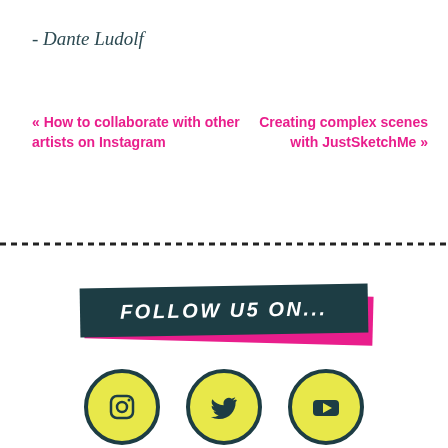- Dante Ludolf
« How to collaborate with other artists on Instagram    Creating complex scenes with JustSketchMe »
[Figure (infographic): Dashed horizontal divider line across the page]
[Figure (infographic): Follow us on... banner with dark teal background and pink shadow, hand-lettered style text, with three social media icons (Instagram, Twitter, YouTube) in yellow circles below]